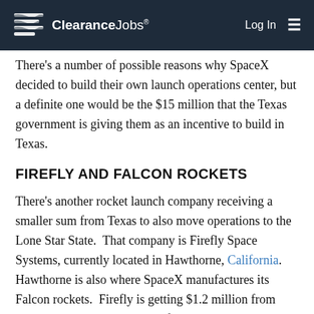ClearanceJobs® | Log In
There's a number of possible reasons why SpaceX decided to build their own launch operations center, but a definite one would be the $15 million that the Texas government is giving them as an incentive to build in Texas.
FIREFLY AND FALCON ROCKETS
There's another rocket launch company receiving a smaller sum from Texas to also move operations to the Lone Star State.  That company is Firefly Space Systems, currently located in Hawthorne, California.  Hawthorne is also where SpaceX manufactures its Falcon rockets.  Firefly is getting $1.2 million from Cedar Park, Texas, a suburb of Austin, to move there and create at least 200 jobs.  The jobs